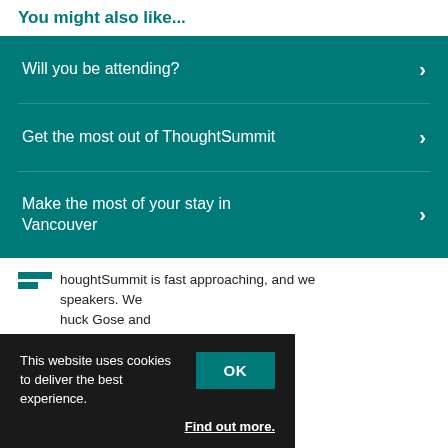You might also like...
Will you be attending?
Get the most out of ThoughtSummit
Make the most of your stay in Vancouver
houghtSummit is fast approaching, and we speakers. We huck Gose and hallenges facing internal communications professionals.
This website uses cookies to deliver the best experience.
Find out more.